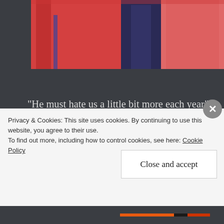[Figure (photo): Partial view of people wearing pink/red running jackets, cropped at top of the page]
“He must hate us a little bit more each year” I said to Mark as we climbed yet another hill. How many hills can one person add to the social run? My legs were burning, breathing became harder, sweat started to warm my back! Mike ran passed me and shouted
Privacy & Cookies: This site uses cookies. By continuing to use this website, you agree to their use.
To find out more, including how to control cookies, see here: Cookie Policy
Close and accept